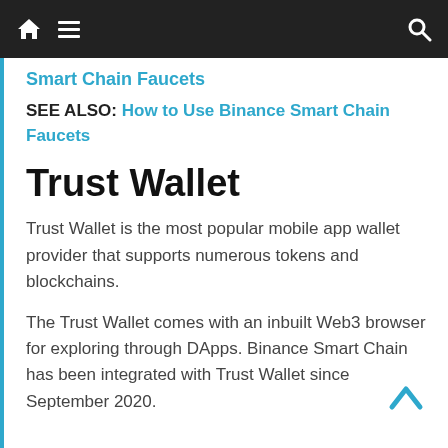navigation bar with home, menu, and search icons
Smart Chain Faucets
SEE ALSO: How to Use Binance Smart Chain Faucets
Trust Wallet
Trust Wallet is the most popular mobile app wallet provider that supports numerous tokens and blockchains.
The Trust Wallet comes with an inbuilt Web3 browser for exploring through DApps. Binance Smart Chain has been integrated with Trust Wallet since September 2020.